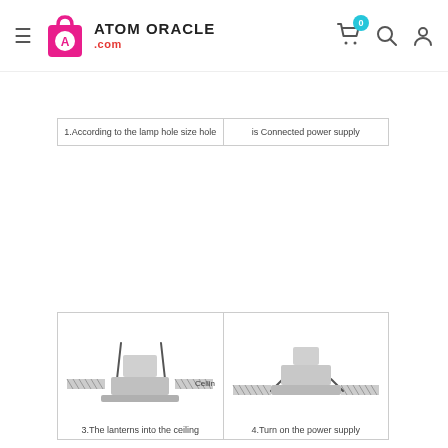Atom Oracle .com
| 1.According to the lamp hole size hole | is Connected power supply |
[Figure (illustration): Diagram 3: The lanterns into the ceiling — shows a recessed light fixture being inserted into a ceiling cutout, with spring clips and the fixture body shown in cross-section side view, labeled 'Ceiling']
[Figure (illustration): Diagram 4: Turn on the power supply — shows a recessed light fixture fully installed and flush with the ceiling, with spring clips deployed, viewed from the side]
3.The lanterns into the ceiling
4.Turn on the power supply